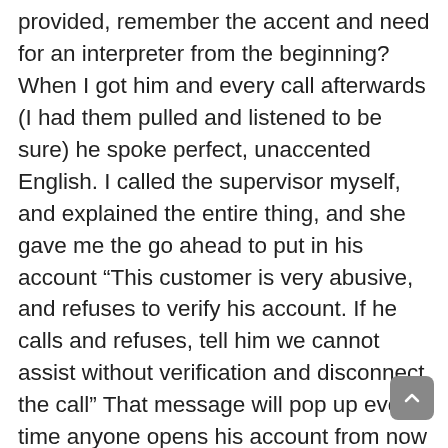provided, remember the accent and need for an interpreter from the beginning? When I got him and every call afterwards (I had them pulled and listened to be sure) he spoke perfect, unaccented English. I called the supervisor myself, and explained the entire thing, and she gave me the go ahead to put in his account “This customer is very abusive, and refuses to verify his account. If he calls and refuses, tell him we cannot assist without verification and disconnect the call” That message will pop up every time anyone opens his account from now on… and when I checked it yesterday, the closing process was started. The supervisor fired the customer. According to her notes, he got nasty with her when she called to find out what he wanted, and she told him since he couldn’t stop abusing people, we “not longer choose to do business